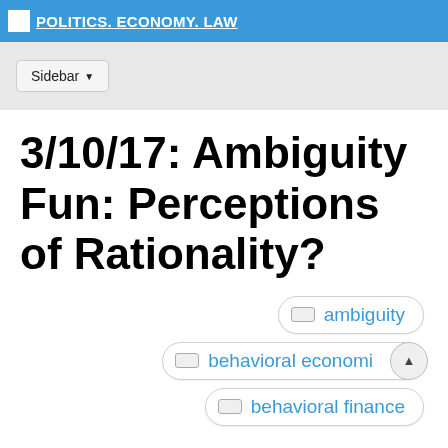POLITICS. ECONOMY. LAW
Sidebar
3/10/17: Ambiguity Fun: Perceptions of Rationality?
ambiguity
behavioral economics
behavioral finance